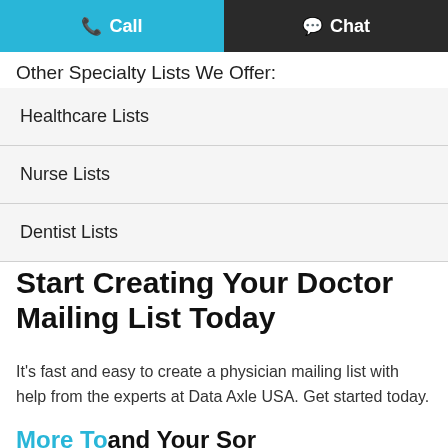Call  Chat
Other Specialty Lists We Offer:
Healthcare Lists
Nurse Lists
Dentist Lists
Start Creating Your Doctor Mailing List Today
It's fast and easy to create a physician mailing list with help from the experts at Data Axle USA. Get started today.
More To and Your Sor...